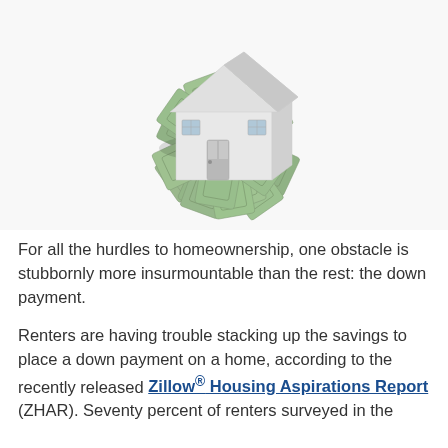[Figure (illustration): A white 3D model of a house sitting on top of a pile of scattered US dollar bills, photographed against a white background.]
For all the hurdles to homeownership, one obstacle is stubbornly more insurmountable than the rest: the down payment.
Renters are having trouble stacking up the savings to place a down payment on a home, according to the recently released Zillow® Housing Aspirations Report (ZHAR). Seventy percent of renters surveyed in the